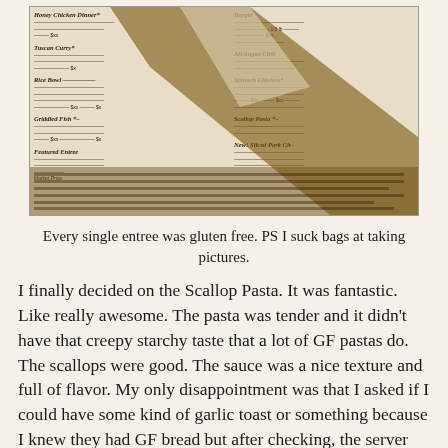[Figure (photo): A blurry, poorly-lit photograph of a restaurant menu. The menu appears to list gluten-free entrees in two columns including items like Scallop Pasta, Featured Entree, and others. A hand shadow falls across the menu making much of the text illegible.]
Every single entree was gluten free. PS I suck bags at taking pictures.
I finally decided on the Scallop Pasta. It was fantastic. Like really awesome. The pasta was tender and it didn't have that creepy starchy taste that a lot of GF pastas do. The scallops were good. The sauce was a nice texture and full of flavor. My only disappointment was that I asked if I could have some kind of garlic toast or something because I knew they had GF bread but after checking, the server said that sho